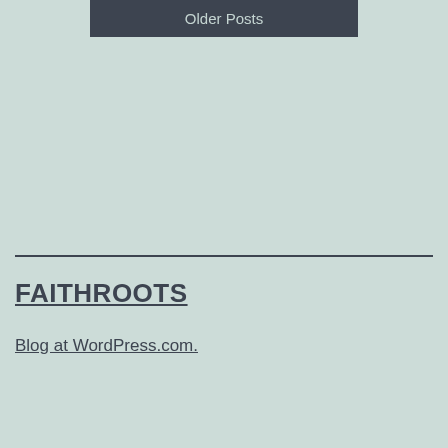Older Posts
FAITHROOTS
Blog at WordPress.com.